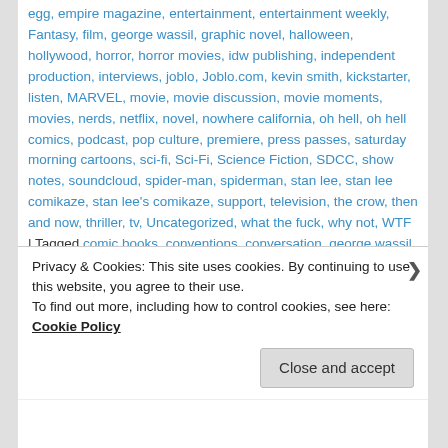egg, empire magazine, entertainment, entertainment weekly, Fantasy, film, george wassil, graphic novel, halloween, hollywood, horror, horror movies, idw publishing, independent production, interviews, joblo, Joblo.com, kevin smith, kickstarter, listen, MARVEL, movie, movie discussion, movie moments, movies, nerds, netflix, novel, nowhere california, oh hell, oh hell comics, podcast, pop culture, premiere, press passes, saturday morning cartoons, sci-fi, Sci-Fi, Science Fiction, SDCC, show notes, soundcloud, spider-man, spiderman, stan lee, stan lee comikaze, stan lee's comikaze, support, television, the crow, then and now, thriller, tv, Uncategorized, what the fuck, why not, WTF | Tagged comic books, conventions, conversation, george wassil, graphic novel, independent, independent publishing, interviews, movies, oh hell, oh hell comics, stan lee's comikaze, stan lee's los angeles comic con, what the fuck
Privacy & Cookies: This site uses cookies. By continuing to use this website, you agree to their use.
To find out more, including how to control cookies, see here: Cookie Policy